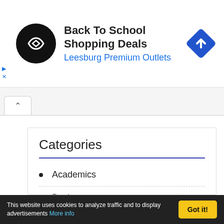[Figure (infographic): Advertisement banner: circular black logo with double arrow icon, text 'Back To School Shopping Deals' and 'Leesburg Premium Outlets' in blue, blue diamond direction arrow icon on right]
Categories
Academics
Business
Cards
Certificates
This website uses cookies to analyze traffic and to display advertisements More info Got it!